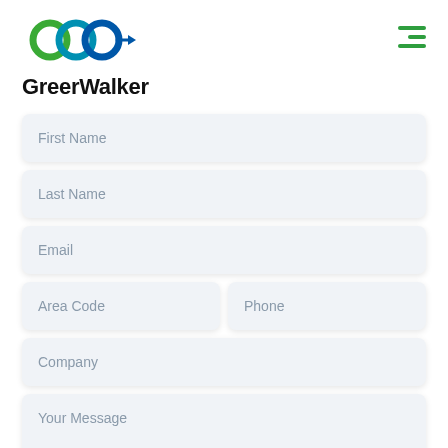[Figure (logo): GreerWalker logo with three interlocking circles in green and blue, followed by the text GreerWalker in bold black]
[Figure (other): Green hamburger menu icon (three horizontal lines, middle line shorter and offset right)]
First Name
Last Name
Email
Area Code
Phone
Company
Your Message